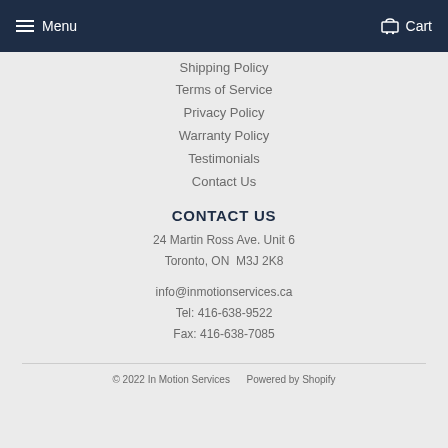Menu  Cart
Shipping Policy
Terms of Service
Privacy Policy
Warranty Policy
Testimonials
Contact Us
CONTACT US
24 Martin Ross Ave. Unit 6
Toronto, ON  M3J 2K8
info@inmotionservices.ca
Tel: 416-638-9522
Fax: 416-638-7085
© 2022 In Motion Services    Powered by Shopify